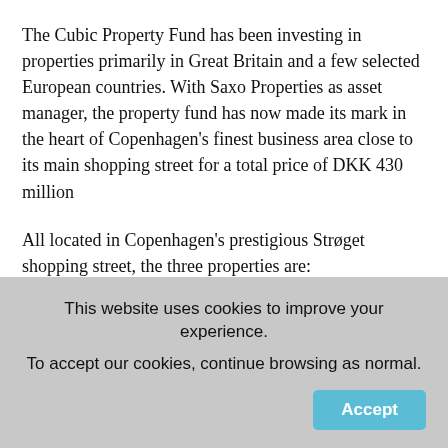The Cubic Property Fund has been investing in properties primarily in Great Britain and a few selected European countries. With Saxo Properties as asset manager, the property fund has now made its mark in the heart of Copenhagen's finest business area close to its main shopping street for a total price of DKK 430 million
All located in Copenhagen's prestigious Strøget shopping street, the three properties are: Amagertorv 2 with Louis Vuitton as tenant; Købmagergade 22 with Synoptik and Matas as tenants; Østergade 33-35 with Cos and the Body Shop as tenants.
This website uses cookies to improve your experience. To accept our cookies, continue browsing as normal.